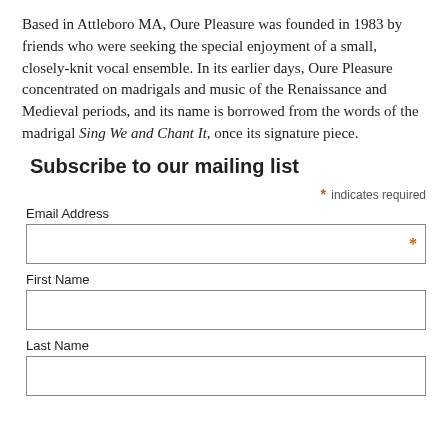Based in Attleboro MA, Oure Pleasure was founded in 1983 by friends who were seeking the special enjoyment of a small, closely-knit vocal ensemble. In its earlier days, Oure Pleasure concentrated on madrigals and music of the Renaissance and Medieval periods, and its name is borrowed from the words of the madrigal Sing We and Chant It, once its signature piece.
Subscribe to our mailing list
* indicates required
Email Address
First Name
Last Name